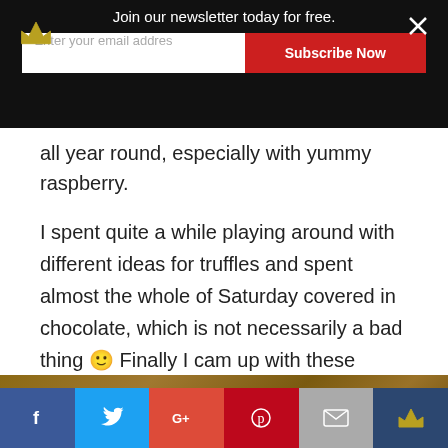[Figure (screenshot): Newsletter signup overlay bar with crown icon, 'Join our newsletter today for free.' text, email input field, Subscribe Now red button, and close X icon.]
all year round, especially with yummy raspberry.
I spent quite a while playing around with different ideas for truffles and spent almost the whole of Saturday covered in chocolate, which is not necessarily a bad thing 🙂 Finally I cam up with these super tasty vegan truffles that are totally decadent and great fun at a party when served with the dipping sauce and other toppings at a dinner party.
[Figure (photo): Partial photo of food on a white plate set on a wooden table surface, visible at bottom of page.]
[Figure (screenshot): Social media sharing bar with Facebook, Twitter, Google+, Pinterest, Email, and crown icon buttons.]